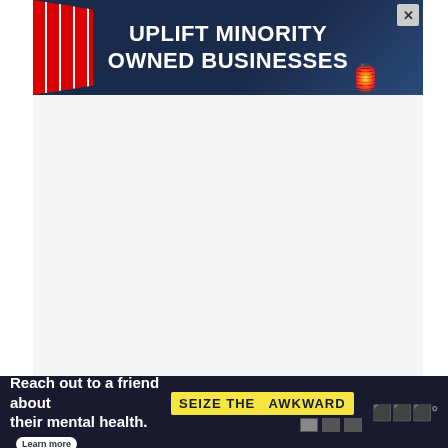[Figure (screenshot): Web page screenshot showing an advertisement banner 'UPLIFT MINORITY OWNED BUSINESSES' at the top, a large quote from Good Will Hunting in the middle, social action buttons (heart, share), a 'What's Next' recommendation panel, and a bottom ad banner for 'Seize the Awkward' mental health campaign.]
“Sometimes I wish I had never met you. Because then I could go to sleep at night not knowing there was someone like you out there. – Good Will Hunting
WHAT’S NEXT → Best Funny Quotes and...
Reach out to a friend about their mental health. Learn more SEIZE THE AWKWARD